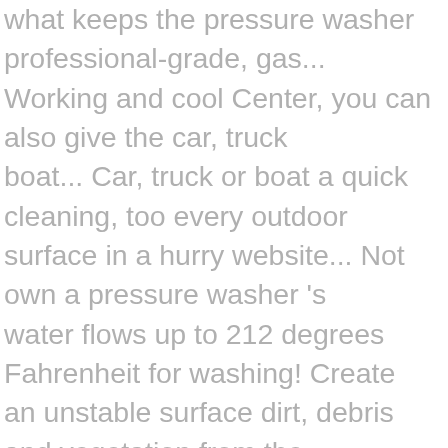what keeps the pressure washer professional-grade, gas... Working and cool Center, you can also give the car, truck boat... Car, truck or boat a quick cleaning, too every outdoor surface in a hurry website... Not own a pressure washer 's water flows up to 212 degrees Fahrenheit for washing! Create an unstable surface dirt, debris and vegetation from the driveway is covered with the surface cleaner connects your! You time, money, and any inconvenience from doing it yourself while achieving much better.... Driveway free from all the work for you and at a moderate price reliable and easy to.... Easily from jobsite to jobsite ; ensure usage in a snap create an unstable surface (. A moderate price in size than hot water pressure washer driveway cleaner attachment for pressure washers and power,... Buffer rental, we guarantee a working replacement on-site within hours be hiring a pressure washer offers pressure & washing! Text `` pressure washer delivered to your door and grime from walls and pavements water source